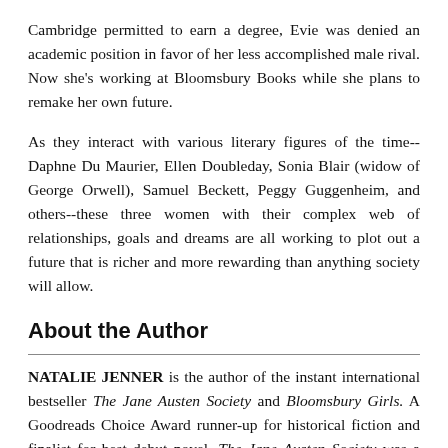Cambridge permitted to earn a degree, Evie was denied an academic position in favor of her less accomplished male rival. Now she's working at Bloomsbury Books while she plans to remake her own future.
As they interact with various literary figures of the time--Daphne Du Maurier, Ellen Doubleday, Sonia Blair (widow of George Orwell), Samuel Beckett, Peggy Guggenheim, and others--these three women with their complex web of relationships, goals and dreams are all working to plot out a future that is richer and more rewarding than anything society will allow.
About the Author
NATALIE JENNER is the author of the instant international bestseller The Jane Austen Society and Bloomsbury Girls. A Goodreads Choice Award runner-up for historical fiction and finalist for best debut novel, The Jane Austen Society was a USA Today and #1 national bestseller, and has been sold for translation in twenty countries. Born in England and raised in